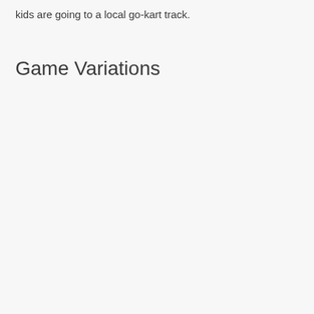kids are going to a local go-kart track.
Game Variations